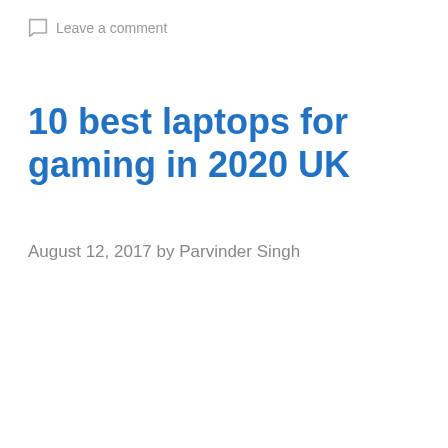Leave a comment
10 best laptops for gaming in 2020 UK
August 12, 2017 by Parvinder Singh